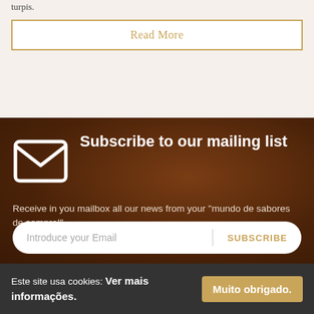turpis.
Read More
Subscribe to our mailing list
Receive in you mailbox all our news from your "mundo de sabores de sempre!"
Introduce your Email
SUBSCRIBE
Este site usa cookies: Ver mais informações.
Muito obrigado.